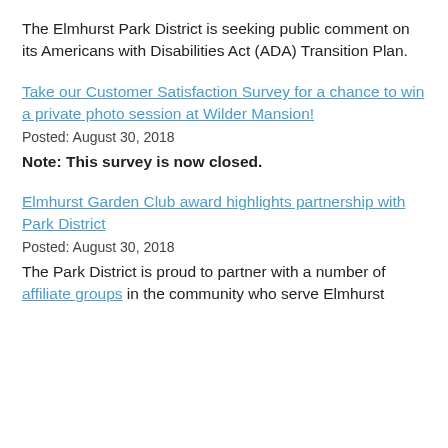The Elmhurst Park District is seeking public comment on its Americans with Disabilities Act (ADA) Transition Plan.
Take our Customer Satisfaction Survey for a chance to win a private photo session at Wilder Mansion!
Posted: August 30, 2018
Note: This survey is now closed.
Elmhurst Garden Club award highlights partnership with Park District
Posted: August 30, 2018
The Park District is proud to partner with a number of affiliate groups in the community who serve Elmhurst